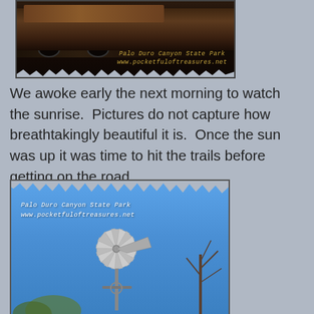[Figure (photo): Dark photo of a large RV/motorhome at Palo Duro Canyon State Park at night or low light, with watermark text 'Palo Duro Canyon State Park www.pocketfuloftreasures.net' in gold/yellow italic font]
We awoke early the next morning to watch the sunrise.  Pictures do not capture how breathtakingly beautiful it is.  Once the sun was up it was time to hit the trails before getting on the road.
[Figure (photo): Photo of a metal windmill against a bright blue sky with bare tree branches visible, taken at Palo Duro Canyon State Park. Watermark text reads 'Palo Duro Canyon State Park www.pocketfuloftreasures.net' in white italic font at top left.]